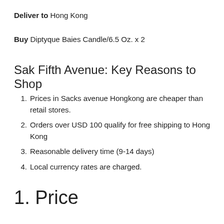Deliver to Hong Kong
Buy Diptyque Baies Candle/6.5 Oz. x 2
Sak Fifth Avenue: Key Reasons to Shop
Prices in Sacks avenue Hongkong are cheaper than retail stores.
Orders over USD 100 qualify for free shipping to Hong Kong
Reasonable delivery time (9-14 days)
Local currency rates are charged.
1. Price